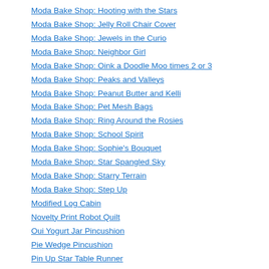Moda Bake Shop: Hooting with the Stars
Moda Bake Shop: Jelly Roll Chair Cover
Moda Bake Shop: Jewels in the Curio
Moda Bake Shop: Neighbor Girl
Moda Bake Shop: Oink a Doodle Moo times 2 or 3
Moda Bake Shop: Peaks and Valleys
Moda Bake Shop: Peanut Butter and Kelli
Moda Bake Shop: Pet Mesh Bags
Moda Bake Shop: Ring Around the Rosies
Moda Bake Shop: School Spirit
Moda Bake Shop: Sophie's Bouquet
Moda Bake Shop: Star Spangled Sky
Moda Bake Shop: Starry Terrain
Moda Bake Shop: Step Up
Modified Log Cabin
Novelty Print Robot Quilt
Oui Yogurt Jar Pincushion
Pie Wedge Pincushion
Pin Up Star Table Runner